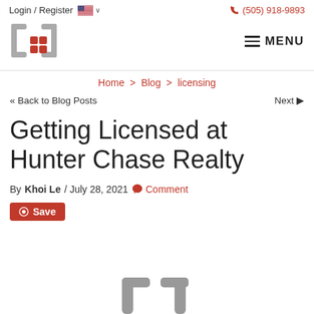Login / Register   (505) 918-9893
[Figure (logo): Hunter Chase Realty logo: two metal bracket shapes forming a house with a red grid icon in the center]
MENU
Home > Blog > licensing
<< Back to Blog Posts    Next >>
Getting Licensed at Hunter Chase Realty
By Khoi Le / July 28, 2021  Comment
Save
[Figure (photo): Partial bottom photo showing metal bracket shapes similar to the logo]